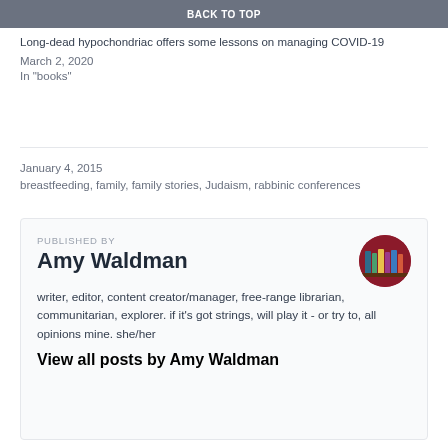BACK TO TOP
Long-dead hypochondriac offers some lessons on managing COVID-19
March 2, 2020
In "books"
January 4, 2015
breastfeeding, family, family stories, Judaism, rabbinic conferences
PUBLISHED BY
Amy Waldman
writer, editor, content creator/manager, free-range librarian, communitarian, explorer. if it's got strings, will play it - or try to, all opinions mine. she/her
View all posts by Amy Waldman